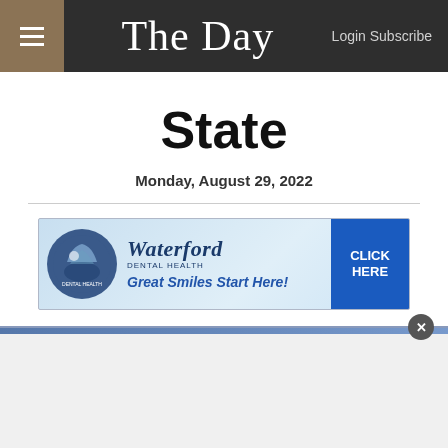The Day — Login Subscribe
State
Monday, August 29, 2022
[Figure (other): Waterford Dental Health advertisement banner — Great Smiles Start Here! Click Here]
McMahon to repay creditors